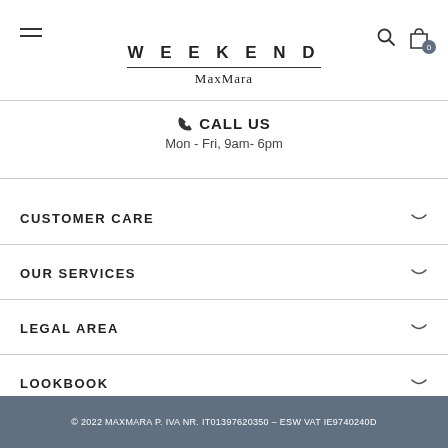WEEKEND MaxMara
CALL US
Mon - Fri, 9am- 6pm
CUSTOMER CARE
OUR SERVICES
LEGAL AREA
LOOKBOOK
© 2022 MAXMARA P. IVA NR. IT01397620350 – ESW VAT IE9740240D